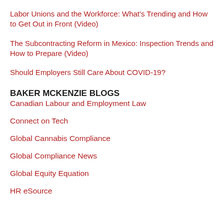Labor Unions and the Workforce: What's Trending and How to Get Out in Front (Video)
The Subcontracting Reform in Mexico: Inspection Trends and How to Prepare (Video)
Should Employers Still Care About COVID-19?
BAKER MCKENZIE BLOGS
Canadian Labour and Employment Law
Connect on Tech
Global Cannabis Compliance
Global Compliance News
Global Equity Equation
HR eSource